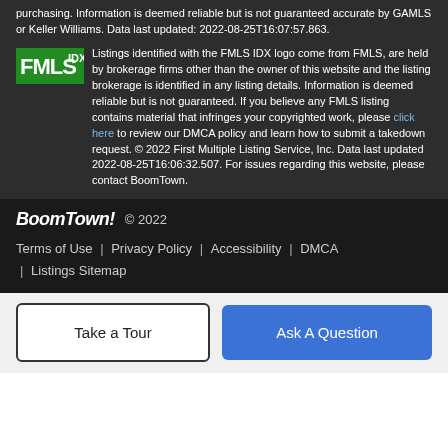purchasing. Information is deemed reliable but is not guaranteed accurate by GAMLS or Keller Williams. Data last updated: 2022-08-25T16:07:57.863.
Listings identified with the FMLS IDX logo come from FMLS, are held by brokerage firms other than the owner of this website and the listing brokerage is identified in any listing details. Information is deemed reliable but is not guaranteed. If you believe any FMLS listing contains material that infringes your copyrighted work, please click here to review our DMCA policy and learn how to submit a takedown request. © 2022 First Multiple Listing Service, Inc. Data last updated 2022-08-25T16:06:32.507. For issues regarding this website, please contact BoomTown.
BoomTown! © 2022 Terms of Use | Privacy Policy | Accessibility | DMCA | Listings Sitemap
Take a Tour
Ask A Question